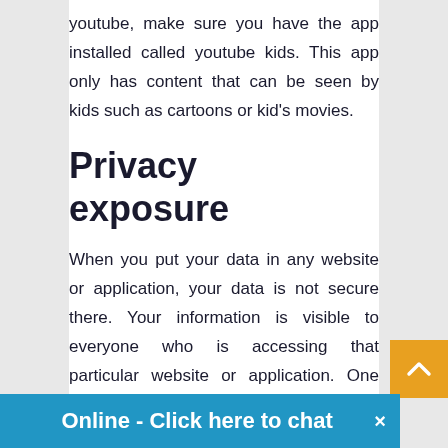youtube, make sure you have the app installed called youtube kids. This app only has content that can be seen by kids such as cartoons or kid's movies.
Privacy exposure
When you put your data in any website or application, your data is not secure there. Your information is visible to everyone who is accessing that particular website or application. One more privacy p[rivacy...]